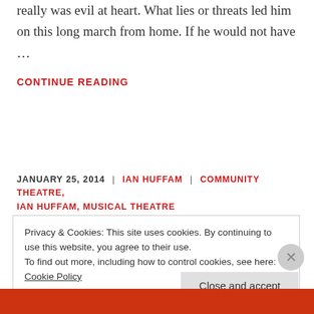really was evil at heart. What lies or threats led him on this long march from home. If he would not have …
CONTINUE READING
JANUARY 25, 2014 | IAN HUFFAM | COMMUNITY THEATRE, IAN HUFFAM, MUSICAL THEATRE
Privacy & Cookies: This site uses cookies. By continuing to use this website, you agree to their use.
To find out more, including how to control cookies, see here: Cookie Policy
Close and accept